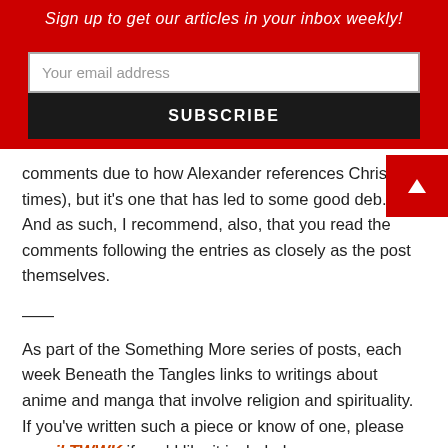Sign up to get our articles in your inbox weekly!
Your email address
SUBSCRIBE
comments due to how Alexander references Christ times), but it's one that has led to some good deb. And as such, I recommend, also, that you read the comments following the entries as closely as the post themselves.
——
As part of the Something More series of posts, each week Beneath the Tangles links to writings about anime and manga that involve religion and spirituality.  If you've written such a piece or know of one, please email TWWK if you'd like it included.